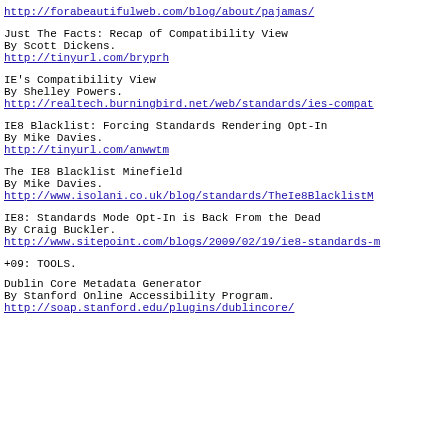http://forabeautifulweb.com/blog/about/pajamas/
Just The Facts: Recap of Compatibility View
By Scott Dickens.
http://tinyurl.com/bryprh
IE's Compatibility View
By Shelley Powers.
http://realtech.burningbird.net/web/standards/ies-compat...
IE8 Blacklist: Forcing Standards Rendering Opt-In
By Mike Davies.
http://tinyurl.com/anwwtm
The IE8 Blacklist Minefield
By Mike Davies.
http://www.isolani.co.uk/blog/standards/TheIe8BlacklistM...
IE8: Standards Mode Opt-In is Back From the Dead
By Craig Buckler.
http://www.sitepoint.com/blogs/2009/02/19/ie8-standards-m...
+09: TOOLS.
Dublin Core Metadata Generator
By Stanford Online Accessibility Program.
http://soap.stanford.edu/plugins/dublincore/